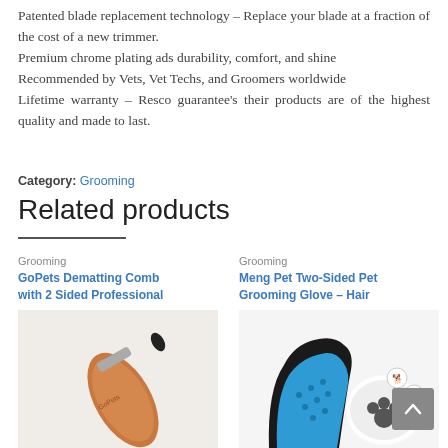Patented blade replacement technology – Replace your blade at a fraction of the cost of a new trimmer. Premium chrome plating ads durability, comfort, and shine Recommended by Vets, Vet Techs, and Groomers worldwide Lifetime warranty – Resco guarantee's their products are of the highest quality and made to last.
Category: Grooming
Related products
Grooming
GoPets Dematting Comb with 2 Sided Professional
[Figure (photo): Orange-handled dematting comb product image]
Grooming
Meng Pet Two-Sided Pet Grooming Glove – Hair
[Figure (photo): Blue and black pet grooming glove product image with animal icons]